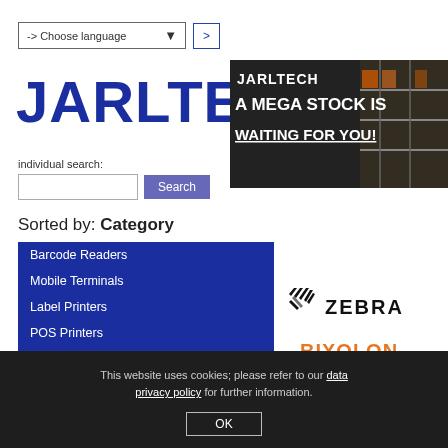-> Choose language  >
[Figure (logo): JARLTECH logo in dark blue bold text]
[Figure (photo): JARLTECH banner: A MEGA STOCK IS WAITING FOR YOU! with warehouse shelves background]
individual search:
Search
Sorted by: Category
Barcode Readers
Mobile Terminals
Label Printers
POS Printers
Monitors (touch)
Cash Drawers
Currency Testers/Counters
Customer Displays
[Figure (logo): Zebra Technologies logo with stylized zebra stripes icon and ZEBRA text]
[Figure (logo): BIXOLON logo in orange]
NEWS
(08/22) New in our shop: iiyama U read on>
This website uses cookies; please refer to our data privacy policy for further information.
OK